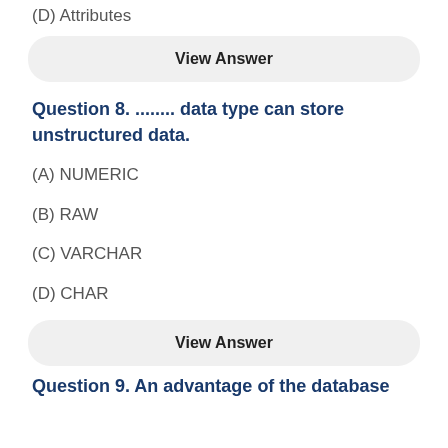(D) Attributes
View Answer
Question 8. ........ data type can store unstructured data.
(A) NUMERIC
(B) RAW
(C) VARCHAR
(D) CHAR
View Answer
Question 9. An advantage of the database...